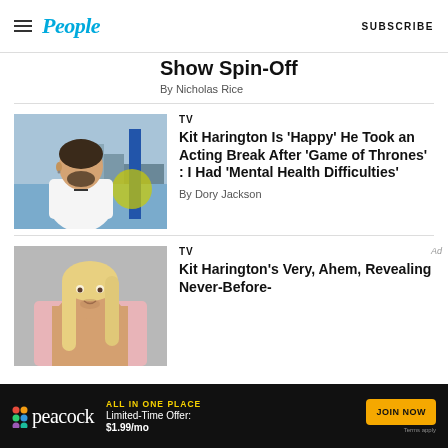People | SUBSCRIBE
Show Spin-Off
By Nicholas Rice
TV
Kit Harington Is 'Happy' He Took an Acting Break After 'Game of Thrones' : I Had 'Mental Health Difficulties'
By Dory Jackson
TV
Kit Harington's Very, Ahem, Revealing Never-Before-
[Figure (photo): Kit Harington in white t-shirt on a terrace with water in the background]
[Figure (photo): Person with long blonde hair, shirtless, in a fantasy costume]
[Figure (other): Peacock streaming service advertisement banner. Text: ALL IN ONE PLACE, Limited-Time Offer: $1.99/mo, JOIN NOW, Terms apply]